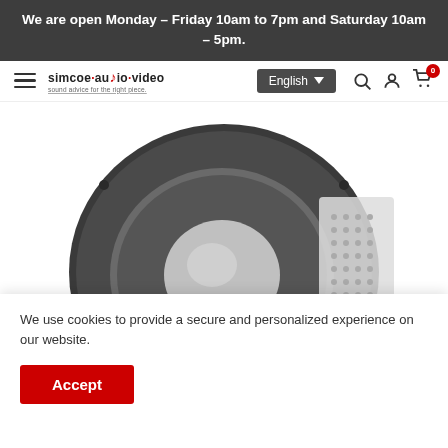We are open Monday – Friday 10am to 7pm and Saturday 10am – 5pm.
[Figure (logo): Simcoe Audio Video logo with text 'simcoe·audio·video' and tagline 'sound advice for the right piece.']
[Figure (screenshot): Navigation bar with hamburger menu, Simcoe Audio Video logo, English language selector dropdown, search icon, account icon, and shopping cart icon with badge showing 0]
[Figure (photo): In-ceiling speaker product photo showing a round speaker with dark gray frame and perforated grille, partially visible]
We use cookies to provide a secure and personalized experience on our website.